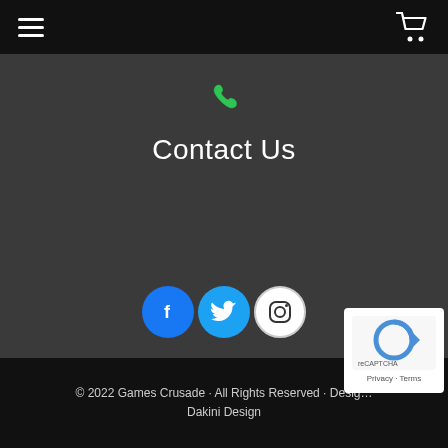Navigation bar with hamburger menu and shopping cart icon
[Figure (illustration): Green phone/call icon at the top of the Contact Us section]
Contact Us
[Figure (illustration): Three social media icons: Facebook (blue circle with f), Twitter (light blue circle with bird), Instagram (white circle with camera outline)]
Connect With Us
© 2022 Games Crusade · All Rights Reserved · Design by Dakini Design